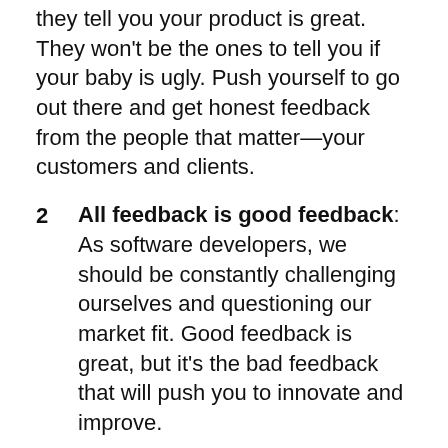they tell you your product is great. They won't be the ones to tell you if your baby is ugly. Push yourself to go out there and get honest feedback from the people that matter—your customers and clients.
2  All feedback is good feedback: As software developers, we should be constantly challenging ourselves and questioning our market fit. Good feedback is great, but it's the bad feedback that will push you to innovate and improve.
3  Relationships drive the best research: Feedback comes from people. By building and nurturing strong relationships with merchants and agencies, you can be sure that when the time comes, they'll take the time to answer your questions.